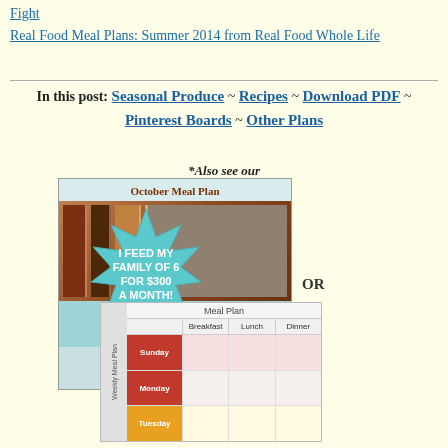Fight
Real Food Meal Plans: Summer 2014 from Real Food Whole Life
In this post: Seasonal Produce ~ Recipes ~ Download PDF ~ Pinterest Boards ~ Other Plans
*Also see our
[Figure (photo): October Meal Plan promotional image with star burst reading 'I FEED MY FAMILY OF 6 FOR $300 A MONTH!' and text 'Frugal, Flexible Monthly Menu Planning from The More With Less Mom']
OR
[Figure (table-as-image): Weekly Meal Plan table with columns Breakfast, Lunch, Dinner and rows for Sunday, Monday, Tuesday]